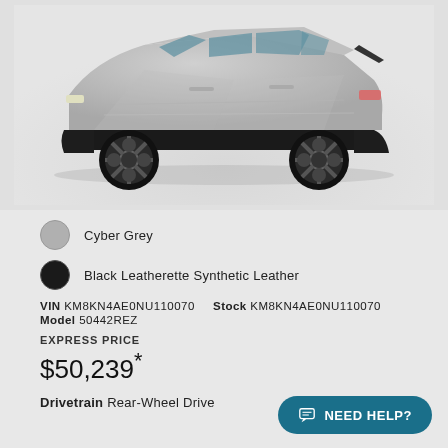[Figure (photo): Side profile view of a Hyundai IONIQ 5 electric vehicle in Cyber Grey color on a light grey background]
Cyber Grey
Black Leatherette Synthetic Leather
VIN KM8KN4AE0NU110070   Stock KM8KN4AE0NU110070
Model 50442REZ
EXPRESS PRICE
$50,239*
Drivetrain Rear-Wheel Drive
NEED HELP?